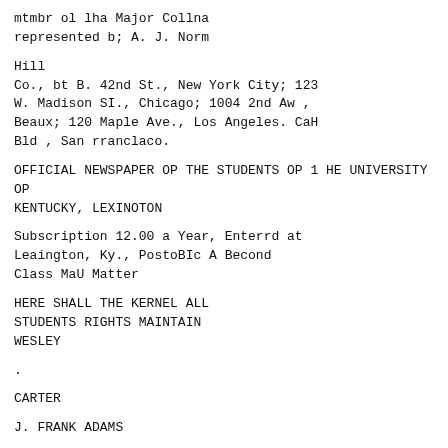mtmbr ol lha Major Collna
represented b; A. J. Norm
Hill
Co., bt B. 42nd St., New York City; 123
W. Madison SI., Chicago; 1004 2nd Aw ,
Beaux; 120 Maple Ave., Los Angeles. CaH
Bld , San rranclaco.
OFFICIAL NEWSPAPER OP THE STUDENTS OP 1 HE UNIVERSITY OP
KENTUCKY, LEXINOTON
Subscription 12.00 a Year, Enterrd at
Leaington, Ky., PostoBIc A Becond
Class MaU Matter
HERE SHALL THE KERNEL ALL
STUDENTS RIGHTS MAINTAIN
WESLEY
.
CARTER
J. FRANK ADAMS
Ciitor-ln-CIU- rl
--